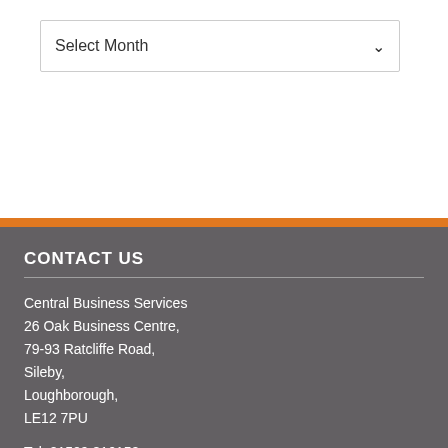[Figure (screenshot): A dropdown select box with placeholder text 'Select Month' and a chevron/arrow on the right side]
CONTACT US
Central Business Services
26 Oak Business Centre,
79-93 Ratcliffe Road,
Sileby,
Loughborough,
LE12 7PU
Tel: 01509 816150
NAVIGATION